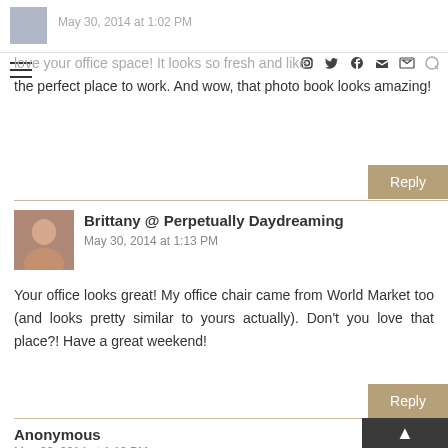May 30, 2014 at 1:02 PM
love your office space! It looks so fresh and like the perfect place to work. And wow, that photo book looks amazing!
Brittany @ Perpetually Daydreaming — May 30, 2014 at 1:13 PM — Your office looks great! My office chair came from World Market too (and looks pretty similar to yours actually). Don't you love that place?! Have a great weekend!
Anonymous — May 30, 2014 at 1:13 PM